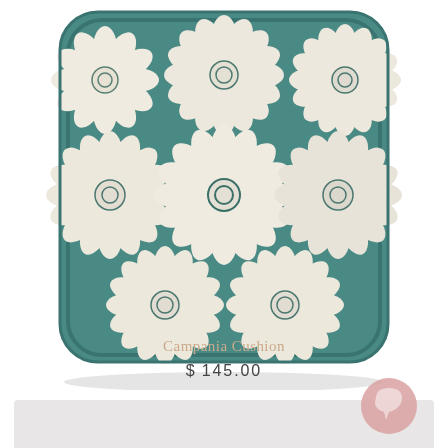[Figure (photo): A square cushion/pillow with a teal/green background featuring an embroidered floral pattern of large cream/white daisy-like flowers arranged in a grid pattern. The cushion has rounded corners and appears plump.]
Campania Cushion
$145.00